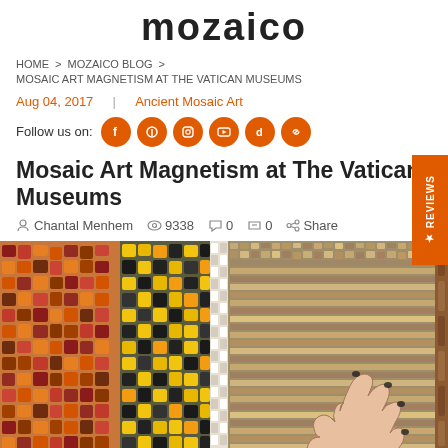mozaico
HOME > MOZAICO BLOG > MOSAIC ART MAGNETISM AT THE VATICAN MUSEUMS
Aug 04, 2017 | Ancient Mosaic Art
Follow us on:
Mosaic Art Magnetism at The Vatican Museums
Chantal Menhem  9338  0  0  Share
[Figure (photo): A hand touching colorful mosaic tile samples displayed vertically — segments of terracotta, yellow, black, white, and gold mosaic panels]